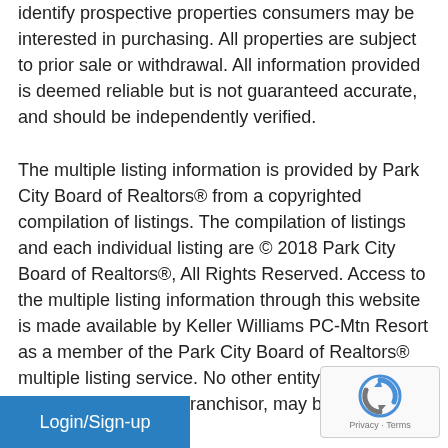identify prospective properties consumers may be interested in purchasing. All properties are subject to prior sale or withdrawal. All information provided is deemed reliable but is not guaranteed accurate, and should be independently verified.
The multiple listing information is provided by Park City Board of Realtors® from a copyrighted compilation of listings. The compilation of listings and each individual listing are © 2018 Park City Board of Realtors®, All Rights Reserved. Access to the multiple listing information through this website is made available by Keller Williams PC-Mtn Resort as a member of the Park City Board of Realtors® multiple listing service. No other entity, including a broker or firm or any franchisor, may be ... of the specific Listing
[Figure (other): Login/Sign-up blue button at bottom left]
[Figure (other): reCAPTCHA badge with logo and Privacy - Terms text at bottom right]